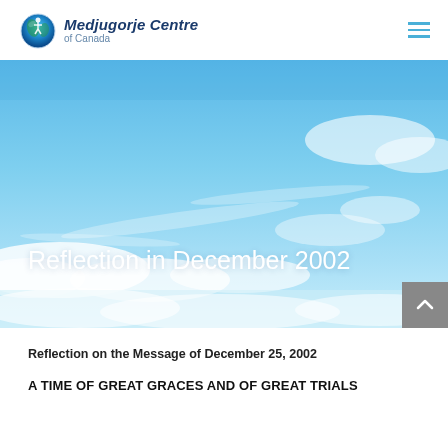[Figure (logo): Medjugorje Centre of Canada logo with circular globe icon and italic text]
[Figure (photo): Blue sky with white clouds, used as hero banner background image]
Reflection in December 2002
Reflection on the Message of December 25, 2002
A TIME OF GREAT GRACES AND OF GREAT TRIALS